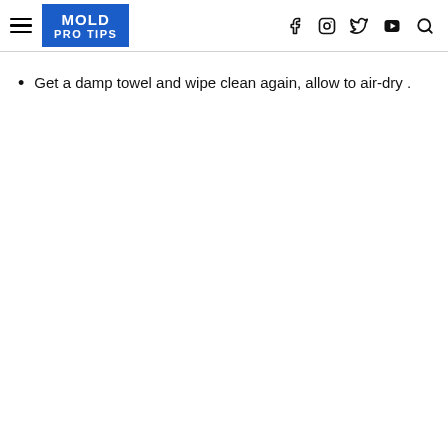MOLD PRO TIPS
Get a damp towel and wipe clean again, allow to air-dry .